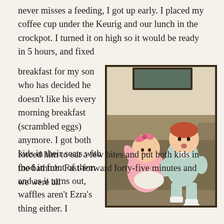never misses a feeding, I got up early. I placed my coffee cup under the Keurig and our lunch in the crockpot. I turned it on high so it would be ready in 5 hours, and fixed breakfast for my son who has decided he doesn't like his every morning breakfast (scrambled eggs) anymore. I got both kids in their seats with food in front of them and as it turns out, waffles aren't Ezra's thing either. I forced him to eat a few bites and put both kids in the bathtub. Fast-forward forty-five minutes and we were all
[Figure (photo): Two young children (a baby girl in pink with a pink bow and an older toddler boy in a light blue outfit with white shoes and socks) sitting together on a brown/tan couch. A framed picture is visible on the wall behind them.]